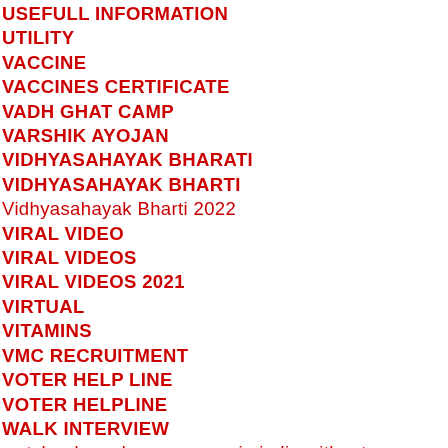USEFULL INFORMATION
UTILITY
VACCINE
VACCINES CERTIFICATE
VADH GHAT CAMP
VARSHIK AYOJAN
VIDHYASAHAYAK BHARATI
VIDHYASAHAYAK BHARTI
Vidhyasahayak Bharti 2022
VIRAL VIDEO
VIRAL VIDEOS
VIRAL VIDEOS 2021
VIRTUAL
VITAMINS
VMC RECRUITMENT
VOTER HELP LINE
VOTER HELPLINE
WALK INTERVIEW
watch ads and earn money in india without investment